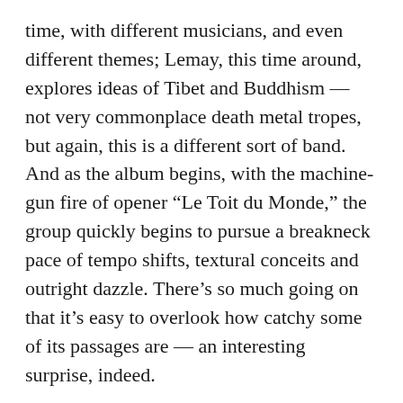time, with different musicians, and even different themes; Lemay, this time around, explores ideas of Tibet and Buddhism — not very commonplace death metal tropes, but again, this is a different sort of band. And as the album begins, with the machine-gun fire of opener “Le Toit du Monde,” the group quickly begins to pursue a breakneck pace of tempo shifts, textural conceits and outright dazzle. There’s so much going on that it’s easy to overlook how catchy some of its passages are — an interesting surprise, indeed.
There are malevolent grooves on “An Ocean of Wisdom,” a psychedelic prog churn on the title track, and even some dark post-punk textures on “Ember’s Voice.” And each track is in its own way a self-contained vessel of complexity to absorb, study and unlock, each